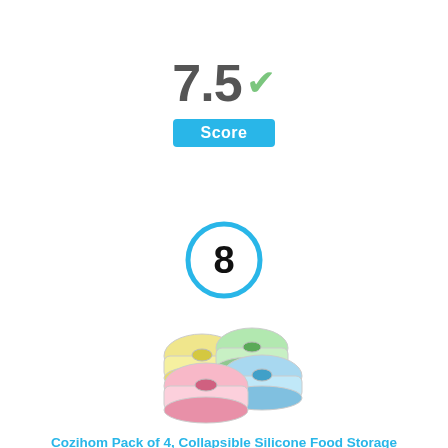[Figure (infographic): Score display showing 7.5 with a green checkmark and a blue 'Score' badge below]
[Figure (infographic): Rank number 8 inside a blue circle]
[Figure (photo): Cozihom collapsible silicone food storage containers in pink, yellow, green and blue colors]
Cozihom Pack of 4, Collapsible Silicone Food Storage Container with Clip-on Lid, Stackable, Space Saving,